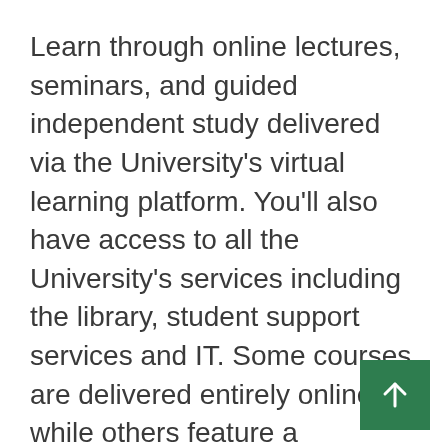Learn through online lectures, seminars, and guided independent study delivered via the University's virtual learning platform. You'll also have access to all the University's services including the library, student support services and IT. Some courses are delivered entirely online, while others feature a combination of virtual learning and on-campus classes.
Become part of an international online community of fellow students and academics.